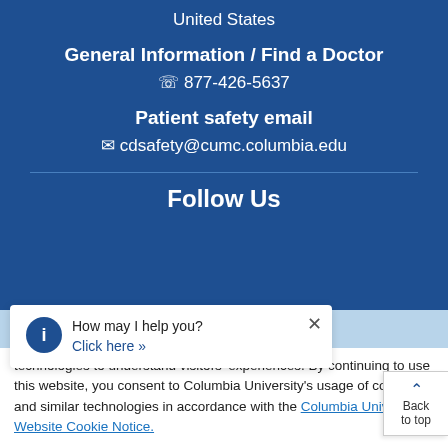United States
General Information / Find a Doctor
877-426-5637
Patient safety email
cdsafety@cumc.columbia.edu
Follow Us
How may I help you? Click here >>
technologies to understand visitors' experiences. By continuing to use this website, you consent to Columbia University's usage of cookies and similar technologies in accordance with the Columbia University Website Cookie Notice.